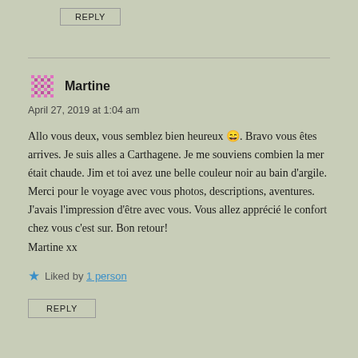REPLY
Martine
April 27, 2019 at 1:04 am
Allo vous deux, vous semblez bien heureux 😀. Bravo vous êtes arrives. Je suis alles a Carthagene. Je me souviens combien la mer était chaude. Jim et toi avez une belle couleur noir au bain d'argile. Merci pour le voyage avec vous photos, descriptions, aventures. J'avais l'impression d'être avec vous. Vous allez apprécié le confort chez vous c'est sur. Bon retour! Martine xx
★ Liked by 1 person
REPLY